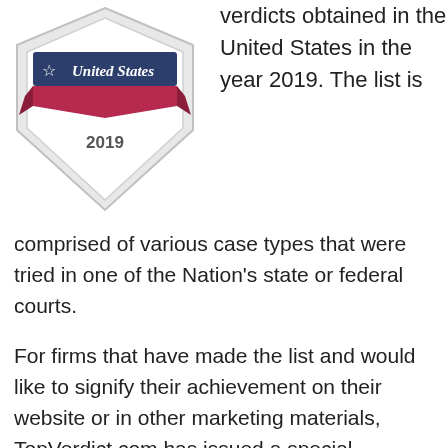[Figure (logo): TopVerdict.com badge showing a shield/ribbon design with a star, 'United States' text on a dark red banner, and '2019' below it.]
verdicts obtained in the United States in the year 2019. The list is comprised of various case types that were tried in one of the Nation's state or federal courts.
For firms that have made the list and would like to signify their achievement on their website or in other marketing materials, TopVerdict.com has issued a special electronic badge that is available for purchase here.
If you are the attorney who obtained one of the 10 verdicts on this list, you can display a separate, personalized badge on your bio page to showcase your victory and potentially generate more business for your firm. You can buy your personalized attorney badge here. You can also